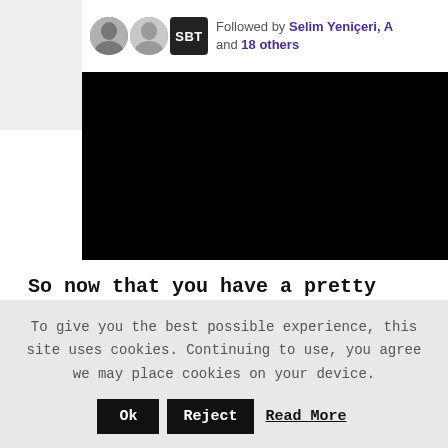[Figure (screenshot): Partial screenshot of a social media page showing follower avatars and 'Followed by Selim Yeniçeri, A... and 18 others' text, with a large black rectangle below (redacted/dark content area)]
So now that you have a pretty good idea of what expert roundups are, let's see what your benefits to hosting one are:
To give you the best possible experience, this site uses cookies. Continuing to use, you agree we may place cookies on your device. Ok  Reject  Read More